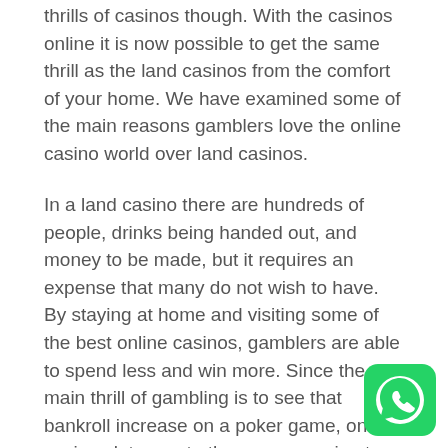thrills of casinos though. With the casinos online it is now possible to get the same thrill as the land casinos from the comfort of your home. We have examined some of the main reasons gamblers love the online casino world over land casinos.
In a land casino there are hundreds of people, drinks being handed out, and money to be made, but it requires an expense that many do not wish to have. By staying at home and visiting some of the best online casinos, gamblers are able to spend less and win more. Since the main thrill of gambling is to see that bankroll increase on a poker game, online casino slots, or at other games, going to a land casino is just not as lucrative. □□□
Online casinos offer bonuses. These bonuses
[Figure (illustration): WhatsApp button icon — green rounded square with white phone/chat logo]